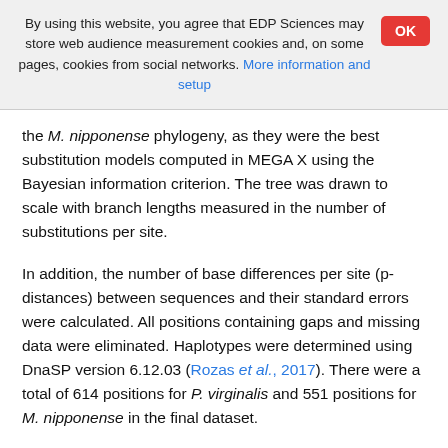By using this website, you agree that EDP Sciences may store web audience measurement cookies and, on some pages, cookies from social networks. More information and setup
the M. nipponense phylogeny, as they were the best substitution models computed in MEGA X using the Bayesian information criterion. The tree was drawn to scale with branch lengths measured in the number of substitutions per site.
In addition, the number of base differences per site (p-distances) between sequences and their standard errors were calculated. All positions containing gaps and missing data were eliminated. Haplotypes were determined using DnaSP version 6.12.03 (Rozas et al., 2017). There were a total of 614 positions for P. virginalis and 551 positions for M. nipponense in the final dataset.